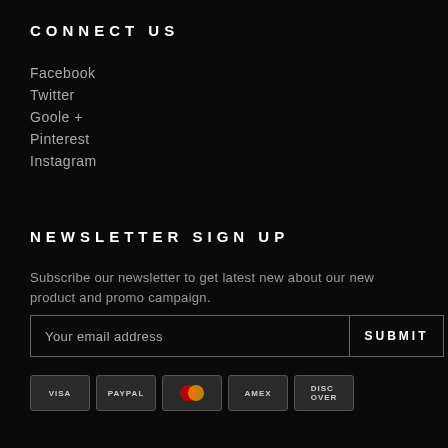CONNECT US
Facebook
Twitter
Goole +
Pinterest
Instagram
NEWSLETTER SIGN UP
Subscribe our newsletter to get latest new about our new product and promo campaign.
Your email address
SUBMIT
[Figure (other): Payment method icons: VISA, PayPal, Mastercard, AMEX, Discover]